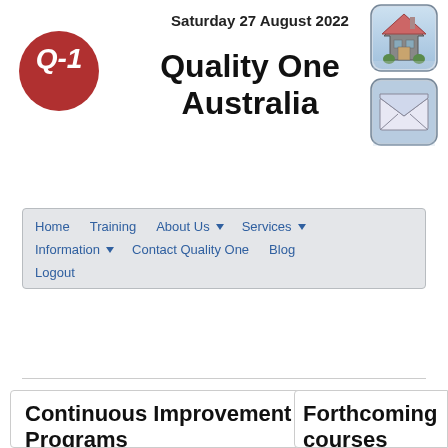[Figure (logo): Q-1 red circle logo with white text]
Saturday 27 August 2022
Quality One Australia
[Figure (illustration): Home icon button - house illustration with rounded square blue border]
[Figure (illustration): Email icon button - envelope illustration with rounded square blue border]
Home  Training  About Us ▾  Services ▾  Information ▾  Contact Quality One  Blog  Logout
Continuous Improvement Programs
Forthcoming courses